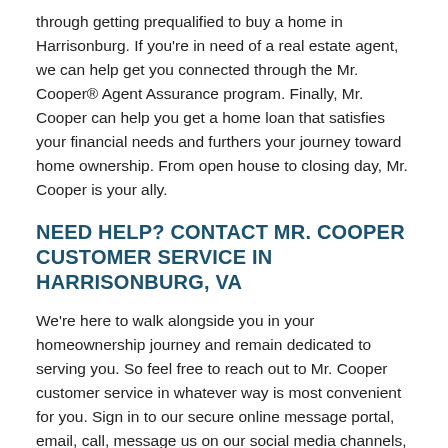through getting prequalified to buy a home in Harrisonburg. If you're in need of a real estate agent, we can help get you connected through the Mr. Cooper® Agent Assurance program. Finally, Mr. Cooper can help you get a home loan that satisfies your financial needs and furthers your journey toward home ownership. From open house to closing day, Mr. Cooper is your ally.
NEED HELP? CONTACT MR. COOPER CUSTOMER SERVICE IN HARRISONBURG, VA
We're here to walk alongside you in your homeownership journey and remain dedicated to serving you. So feel free to reach out to Mr. Cooper customer service in whatever way is most convenient for you. Sign in to our secure online message portal, email, call, message us on our social media channels, or send us a letter in the mail. Getting in contact with Mr. Cooper can be easy, whether you need to complete a transfer of ownership, check out refinancing options, ask a question, or become a successor in interest for a Mr. Cooper loan.